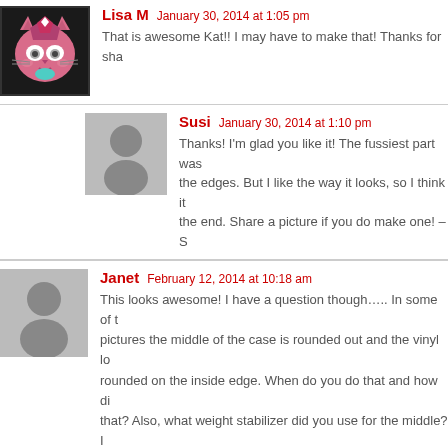[Figure (photo): Avatar image of Lisa M - pink cat character illustration]
Lisa M   January 30, 2014 at 1:05 pm
That is awesome Kat!! I may have to make that! Thanks for sha...
[Figure (photo): Default gray avatar placeholder for Susi]
Susi   January 30, 2014 at 1:10 pm
Thanks! I'm glad you like it! The fussiest part was... the edges. But I like the way it looks, so I think it... the end. Share a picture if you do make one! – S...
[Figure (photo): Default gray avatar placeholder for Janet]
Janet   February 12, 2014 at 10:18 am
This looks awesome! I have a question though..... In some of t... pictures the middle of the case is rounded out and the vinyl lo... rounded on the inside edge. When do you do that and how di... that? Also, what weight stabilizer did you use for the middle? I... to make my husband some of these for all of his computers a... gear he hauls around.
Thank you!
[Figure (photo): Default gray avatar placeholder for Susi (partial, bottom)]
Susi   February 12, 2014 at 2:14 pm